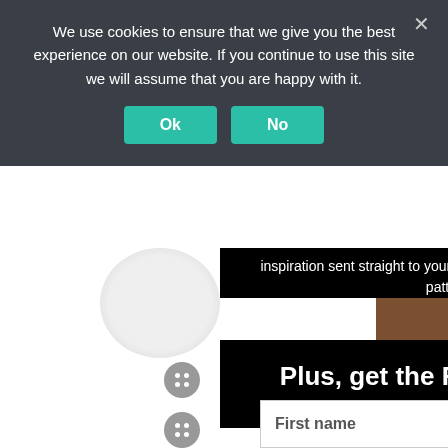We use cookies to ensure that we give you the best experience on our website. If you continue to use this site we will assume that you are happy with it.
Ok
No
inspiration sent straight to your inbox, and be the first to know about new patterns and sales.
Plus, get the FREE Calla skirt pdf sewing pattern when you sign up!
USD
First name